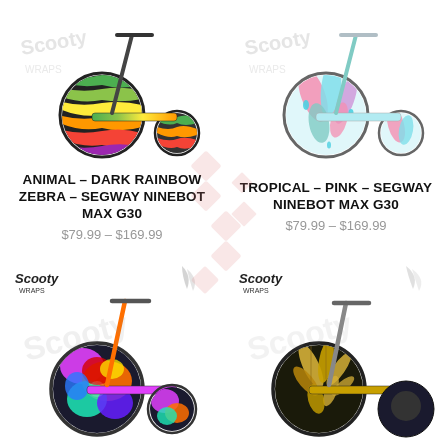[Figure (photo): Scooter with dark rainbow zebra animal print wrap, Scooty Wraps branding, top-left product]
[Figure (photo): Scooter with tropical pink feather print wrap, Scooty Wraps branding, top-right product]
ANIMAL - DARK RAINBOW ZEBRA - SEGWAY NINEBOT MAX G30
$79.99 - $169.99
TROPICAL - PINK - SEGWAY NINEBOT MAX G30
$79.99 - $169.99
[Figure (photo): Scooter with tie-dye colorful rainbow wrap, Scooty Wraps branding, bottom-left product]
[Figure (photo): Scooter with gold tropical leaves on dark background wrap, Scooty Wraps branding, bottom-right product]